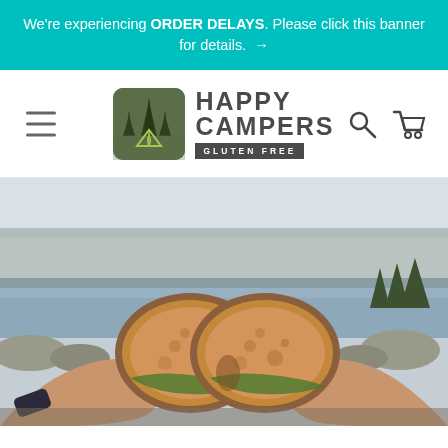We're experiencing ORDER DELAYS. Please click this banner for details. →
[Figure (logo): Happy Campers Gluten Free logo with pine trees and tent icon]
[Figure (photo): Two hands holding gluten-free bread sandwiches together in a cheers gesture, outdoors near a mountain lake with misty pine trees in background]